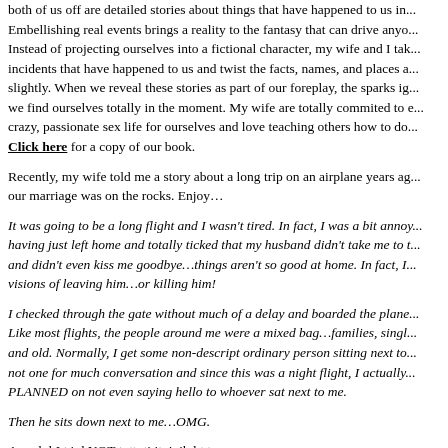both of us off are detailed stories about things that have happened to us in... Embellishing real events brings a reality to the fantasy that can drive anyo... Instead of projecting ourselves into a fictional character, my wife and I tak... incidents that have happened to us and twist the facts, names, and places a... slightly. When we reveal these stories as part of our foreplay, the sparks ig... we find ourselves totally in the moment. My wife are totally commited to e... crazy, passionate sex life for ourselves and love teaching others how to do... Click here for a copy of our book.
Recently, my wife told me a story about a long trip on an airplane years ag... our marriage was on the rocks. Enjoy…
It was going to be a long flight and I wasn't tired. In fact, I was a bit annoy... having just left home and totally ticked that my husband didn't take me to t... and didn't even kiss me goodbye…things aren't so good at home. In fact, I... visions of leaving him…or killing him!
I checked through the gate without much of a delay and boarded the plane... Like most flights, the people around me were a mixed bag…families, singl... and old. Normally, I get some non-descript ordinary person sitting next to... not one for much conversation and since this was a night flight, I actually... PLANNED on not even saying hello to whoever sat next to me.
Then he sits down next to me…OMG.
A s a h l I t i d NOT t tt ti it i ib l t t